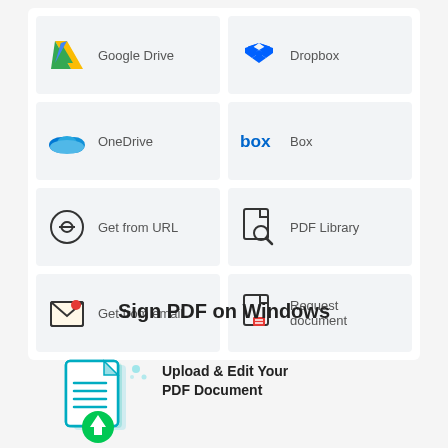[Figure (screenshot): Grid of 8 cloud storage and document source options: Google Drive, Dropbox, OneDrive, Box, Get from URL, PDF Library, Get from email, Request document]
Sign PDF on Windows
[Figure (illustration): Teal document icon with upload arrow and decorative dots]
Upload & Edit Your PDF Document